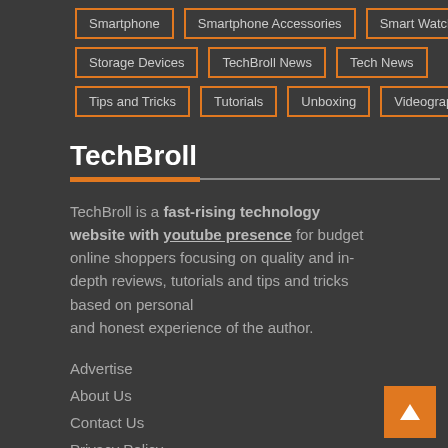Smartphone
Smartphone Accessories
Smart Watches
Storage Devices
TechBroll News
Tech News
Tips and Tricks
Tutorials
Unboxing
Videography
TechBroll
TechBroll is a fast-rising technology website with youtube presence for budget online shoppers focusing on quality and in-depth reviews, tutorials and tips and tricks based on personal and honest experience of the author.
Advertise
About Us
Contact Us
Privacy Policy